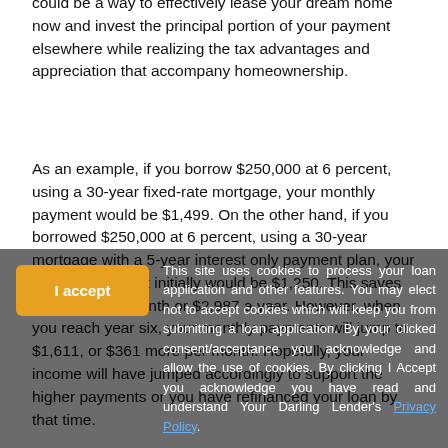could be a way to effectively lease your dream home now and invest the principal portion of your payment elsewhere while realizing the tax advantages and appreciation that accompany homeownership.
As an example, if you borrow $250,000 at 6 percent, using a 30-year fixed-rate mortgage, your monthly payment would be $1,499. On the other hand, if you borrowed $250,000 at 6 percent, using a 30-year mortgage with a 5-year interest only payment plan, your monthly payment initially would be $1,250. This saves you $249 per month or $2,987 a year. However, when you reach year six, your monthly payments will jump to $1,611, or $361 more per month. Hopefully, your income will have jumped accordingly to support the higher payments or you have refinanced your loan by that time.
Mortgage interest-only payments may save you money in the short-run, but they actually cost more over the 30-year term of the loan. However, most borrowers repay their mortgages well before the end of the full 30-year term.
Borrowers with sporadic incomes can benefit from interest-only mortgages. This is particularly the case if the mortgage is one that permits the borrower to pay more than interest-only. In this case,